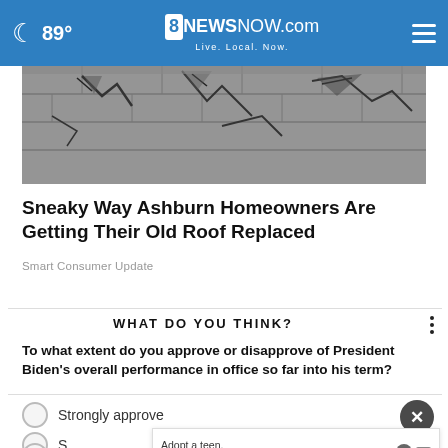89° 8NewsNow.com Live. Local. Now.
[Figure (photo): Close-up of cracked and broken roof shingles in grayscale]
Sneaky Way Ashburn Homeowners Are Getting Their Old Roof Replaced
Smart Consumer Update
WHAT DO YOU THINK?
To what extent do you approve or disapprove of President Biden's overall performance in office so far into his term?
Strongly approve
Somewhat approve
Somewhat disapprove